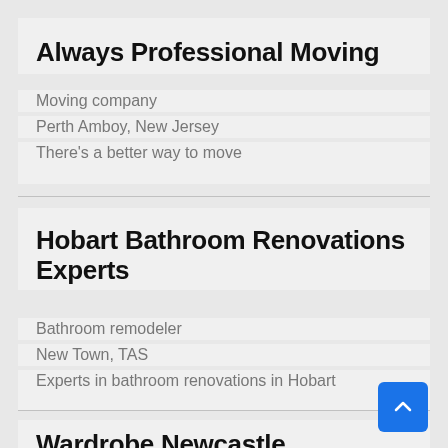Always Professional Moving
Moving company
Perth Amboy, New Jersey
There's a better way to move
Hobart Bathroom Renovations Experts
Bathroom remodeler
New Town, TAS
Experts in bathroom renovations in Hobart
Wardrobe Newcastle
Joiner